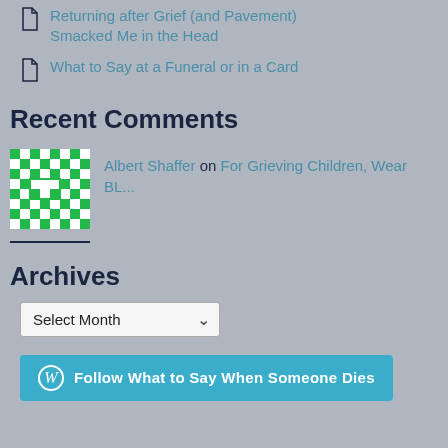Returning after Grief (and Pavement) Smacked Me in the Head
What to Say at a Funeral or in a Card
Recent Comments
Albert Shaffer on For Grieving Children, Wear BL...
Archives
Select Month
Follow What to Say When Someone Dies